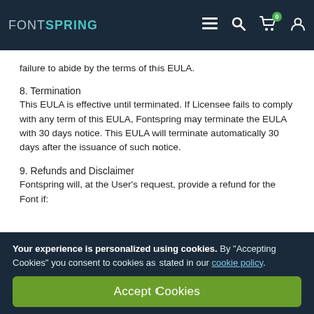FONTSPRING [menu] [search] [cart 0] [account]
failure to abide by the terms of this EULA.
8. Termination
This EULA is effective until terminated. If Licensee fails to comply with any term of this EULA, Fontspring may terminate the EULA with 30 days notice. This EULA will terminate automatically 30 days after the issuance of such notice.
9. Refunds and Disclaimer
Fontspring will, at the User's request, provide a refund for the Font if:
Your experience is personalized using cookies. By "Accepting Cookies" you consent to cookies as stated in our cookie policy.
Accept Cookies